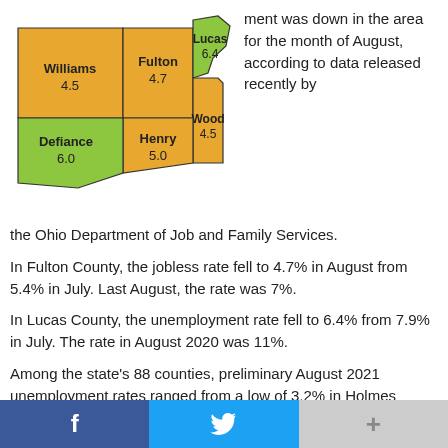[Figure (map): Map of northwest Ohio counties showing unemployment rates for August 2021. Williams 4.5 (orange), Fulton 4.7 (orange), Lucas 6.4 (green), Defiance 6.0 (green), Henry 5.0 (orange), Wood 4.5 (orange).]
ment was down in the area for the month of August, according to data released recently by the Ohio Department of Job and Family Services.
In Fulton County, the jobless rate fell to 4.7% in August from 5.4% in July. Last August, the rate was 7%.
In Lucas County, the unemployment rate fell to 6.4% from 7.9% in July. The rate in August 2020 was 11%.
Among the state's 88 counties, preliminary August 2021 unemployment rates ranged from a low of 3.2% in Holmes